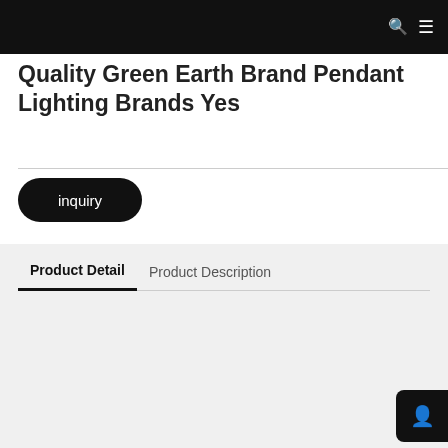Quality Green Earth Brand Pendant Lighting Brands Yes
inquiry
Product Detail   Product Description
|  |  |
| --- | --- |
| ORIGIN | Shenzhen |
| LEAD TIME | Yes |
| WARRANTY | GE-09011 |